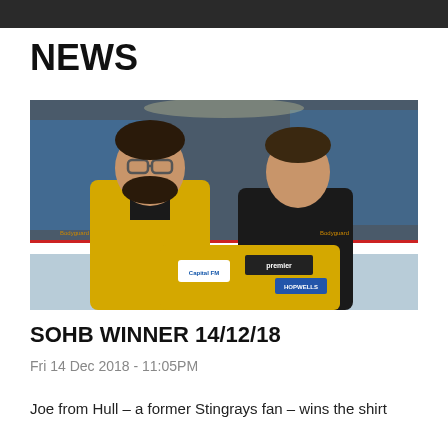NEWS
[Figure (photo): Two people holding up a yellow and black hockey jersey on an ice rink. The person on the left wears glasses and a yellow/black varsity jacket. The person on the right wears a black hoodie. The jersey has sponsor logos including Capital FM, Premier, and Hopwells.]
SOHB WINNER 14/12/18
Fri 14 Dec 2018 - 11:05PM
Joe from Hull – a former Stingrays fan – wins the shirt